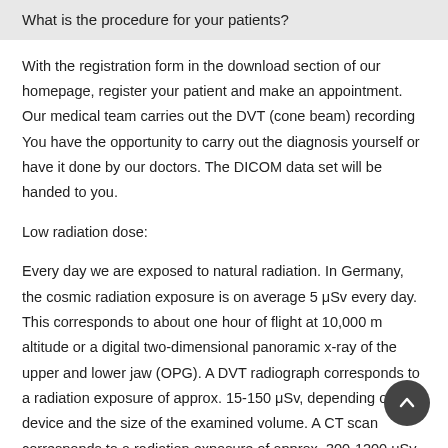What is the procedure for your patients?
With the registration form in the download section of our homepage, register your patient and make an appointment. Our medical team carries out the DVT (cone beam) recording You have the opportunity to carry out the diagnosis yourself or have it done by our doctors. The DICOM data set will be handed to you.
Low radiation dose:
Every day we are exposed to natural radiation. In Germany, the cosmic radiation exposure is on average 5 μSv every day. This corresponds to about one hour of flight at 10,000 m altitude or a digital two-dimensional panoramic x-ray of the upper and lower jaw (OPG). A DVT radiograph corresponds to a radiation exposure of approx. 15-150 μSv, depending on the device and the size of the examined volume. A CT scan corresponds to a radiation exposure of approx. 300-1200 μSv. Freely scalable volume sizes make particularly low radiation exposure possible. A special advantage is the Guiding Light for the perfect positioning of the